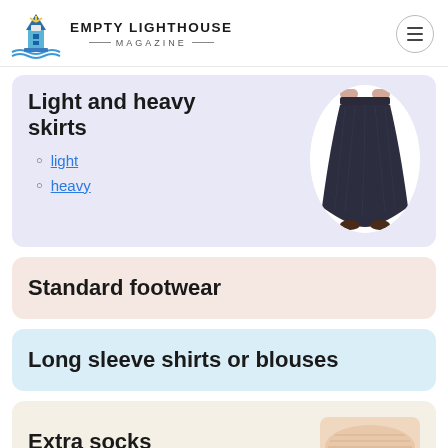EMPTY LIGHTHOUSE MAGAZINE
Light and heavy skirts
light
heavy
Standard footwear
Long sleeve shirts or blouses
Extra socks